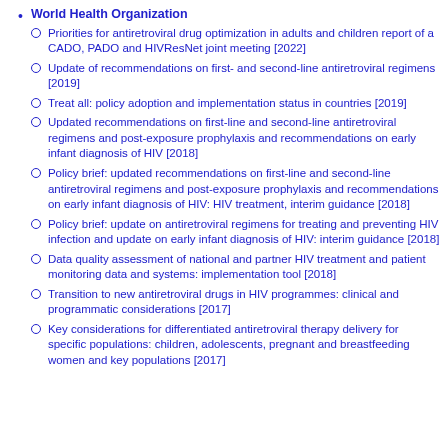World Health Organization
Priorities for antiretroviral drug optimization in adults and children report of a CADO, PADO and HIVResNet joint meeting [2022]
Update of recommendations on first- and second-line antiretroviral regimens [2019]
Treat all: policy adoption and implementation status in countries [2019]
Updated recommendations on first-line and second-line antiretroviral regimens and post-exposure prophylaxis and recommendations on early infant diagnosis of HIV [2018]
Policy brief: updated recommendations on first-line and second-line antiretroviral regimens and post-exposure prophylaxis and recommendations on early infant diagnosis of HIV: HIV treatment, interim guidance [2018]
Policy brief: update on antiretroviral regimens for treating and preventing HIV infection and update on early infant diagnosis of HIV: interim guidance [2018]
Data quality assessment of national and partner HIV treatment and patient monitoring data and systems: implementation tool [2018]
Transition to new antiretroviral drugs in HIV programmes: clinical and programmatic considerations [2017]
Key considerations for differentiated antiretroviral therapy delivery for specific populations: children, adolescents, pregnant and breastfeeding women and key populations [2017]